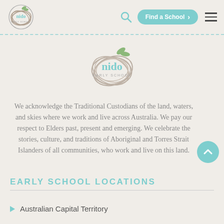nido early school — navigation bar with Find a School button
[Figure (logo): Nido Early School circular logo with leaves, center of page]
We acknowledge the Traditional Custodians of the land, waters, and skies where we work and live across Australia. We pay our respect to Elders past, present and emerging. We celebrate the stories, culture, and traditions of Aboriginal and Torres Strait Islanders of all communities, who work and live on this land.
EARLY SCHOOL LOCATIONS
Australian Capital Territory